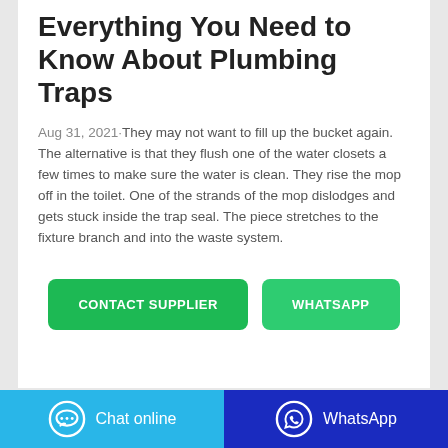Everything You Need to Know About Plumbing Traps
Aug 31, 2021·They may not want to fill up the bucket again. The alternative is that they flush one of the water closets a few times to make sure the water is clean. They rise the mop off in the toilet. One of the strands of the mop dislodges and gets stuck inside the trap seal. The piece stretches to the fixture branch and into the waste system.
[Figure (other): Two green buttons: CONTACT SUPPLIER and WHATSAPP]
Chat online   WhatsApp